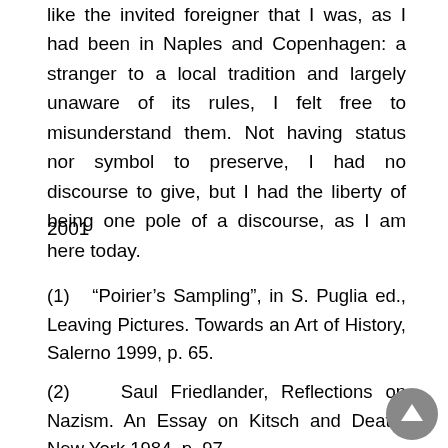like the invited foreigner that I was, as I had been in Naples and Copenhagen: a stranger to a local tradition and largely unaware of its rules, I felt free to misunderstand them. Not having status nor symbol to preserve, I had no discourse to give, but I had the liberty of being one pole of a discourse, as I am here today.
2001
(1)  “Poirier’s Sampling”, in S. Puglia ed., Leaving Pictures. Towards an Art of History, Salerno 1999, p. 65.
(2)   Saul Friedlander, Reflections on Nazism. An Essay on Kitsch and Death, New York 1984, p. 97.